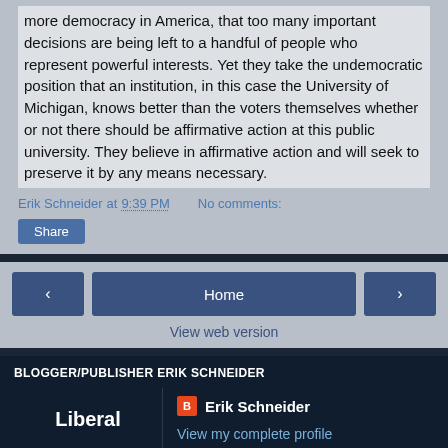more democracy in America, that too many important decisions are being left to a handful of people who represent powerful interests.  Yet they take the undemocratic position that an institution, in this case the University of Michigan, knows better than the voters themselves whether or not there should be affirmative action at this public university.  They believe in affirmative action and will seek to preserve it by any means necessary.
Erik Schneider at 9:39 PM   No comments:
Share
Home
View web version
BLOGGER/PUBLISHER ERIK SCHNEIDER
Erik Schneider
Liberal
View my complete profile